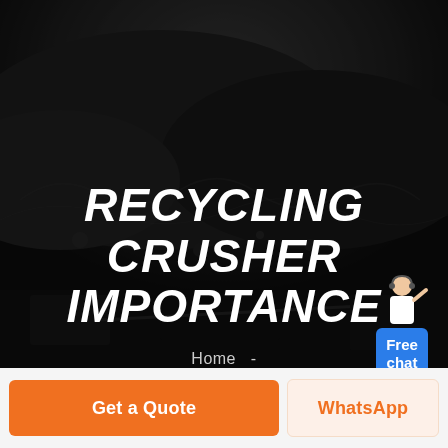[Figure (photo): Dark grayscale background photo of a rock crushing/mining site with large piles of crushed stone/coal and industrial crushing equipment visible. A female customer service agent figure in white stands in the right portion with a headset, next to a blue 'Free chat' button box.]
RECYCLING CRUSHER IMPORTANCE
Home  -
Get a Quote
WhatsApp